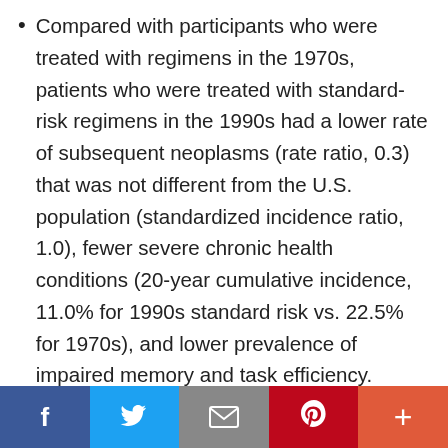Compared with participants who were treated with regimens in the 1970s, patients who were treated with standard-risk regimens in the 1990s had a lower rate of subsequent neoplasms (rate ratio, 0.3) that was not different from the U.S. population (standardized incidence ratio, 1.0), fewer severe chronic health conditions (20-year cumulative incidence, 11.0% for 1990s standard risk vs. 22.5% for 1970s), and lower prevalence of impaired memory and task efficiency.
f  |  Twitter bird  |  envelope  |  P  |  +